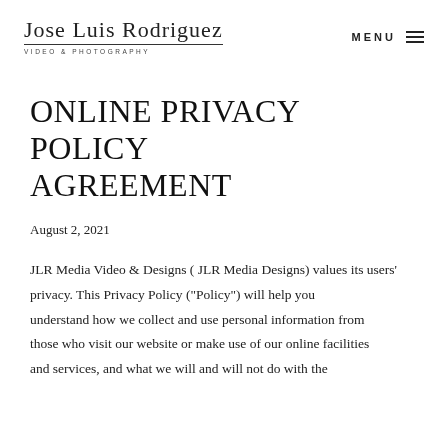Jose Luis Rodriguez | VIDEO & PHOTOGRAPHY | MENU
ONLINE PRIVACY POLICY AGREEMENT
August 2, 2021
JLR Media Video & Designs ( JLR Media Designs) values its users' privacy. This Privacy Policy ("Policy") will help you understand how we collect and use personal information from those who visit our website or make use of our online facilities and services, and what we will and will not do with the